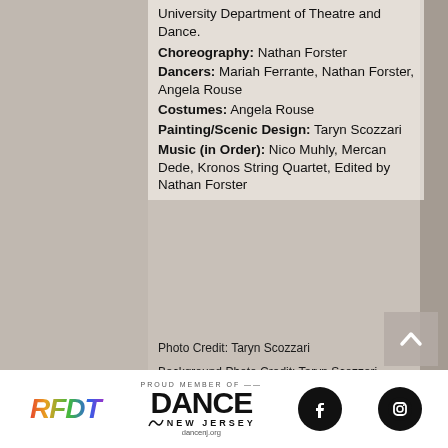University Department of Theatre and Dance.
Choreography: Nathan Forster Dancers: Mariah Ferrante, Nathan Forster, Angela Rouse Costumes: Angela Rouse Painting/Scenic Design: Taryn Scozzari Music (in Order): Nico Muhly, Mercan Dede, Kronos String Quartet, Edited by Nathan Forster
Photo Credit: Taryn Scozzari
Background Photo Credit: Taryn Scozzari
[Figure (logo): RFDT logo in rainbow gradient italic bold font]
[Figure (logo): Dance New Jersey proud member logo with DANCE text large and dancenj.org url]
[Figure (logo): Facebook social media icon - white F on black circle]
[Figure (logo): Instagram social media icon - white camera outline on black circle]